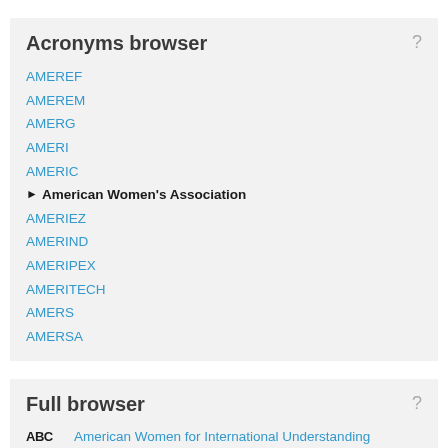Acronyms browser
AMEREF
AMEREM
AMERG
AMERI
AMERIC
▶ American Women's Association
AMERIEZ
AMERIND
AMERIPEX
AMERITECH
AMERS
AMERSA
Full browser
ABC  American Women for International Understanding
ABC  American Women in Radio and Television
ABC  American Women Writers of Color